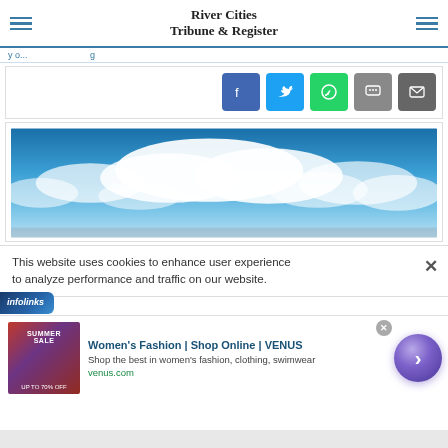River Cities Tribune & Register
[Figure (screenshot): Social share buttons: Facebook (blue), Twitter (light blue), WhatsApp (green), Chat/message (gray), Email (dark gray)]
[Figure (photo): Panoramic sky photo with blue sky and white clouds]
This website uses cookies to enhance user experience to analyze performance and traffic on our website.
[Figure (logo): Infolinks advertisement label/logo]
[Figure (screenshot): Advertisement: Women's Fashion | Shop Online | VENUS. Shop the best in women's fashion, clothing, swimwear. venus.com]